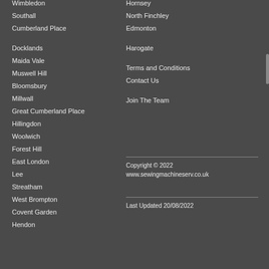Wimbledon
Southall
Cumberland Place
Docklands
Maida Vale
Muswell Hill
Bloomsbury
Millwall
Great Cumberland Place
Hillingdon
Woolwich
Forest Hill
East London
Lee
Streatham
West Brompton
Covent Garden
Hendon
Hornsey
North Finchley
Edmonton
Harogate
Terms and Conditions
Contact Us
Join The Team
Copyright © 2022
www.sewingmachineserv.co.uk
Last Updated 20/08/2022